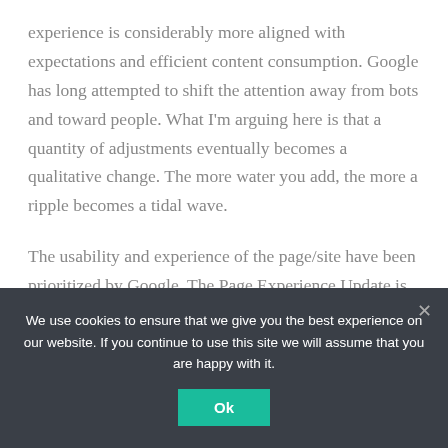experience is considerably more aligned with expectations and efficient content consumption. Google has long attempted to shift the attention away from bots and toward people. What I'm arguing here is that a quantity of adjustments eventually becomes a qualitative change. The more water you add, the more a ripple becomes a tidal wave.
The usability and experience of the page/site have been prioritized by Google. The Page Experience Update is the finest example. This is Google's way of
We use cookies to ensure that we give you the best experience on our website. If you continue to use this site we will assume that you are happy with it.